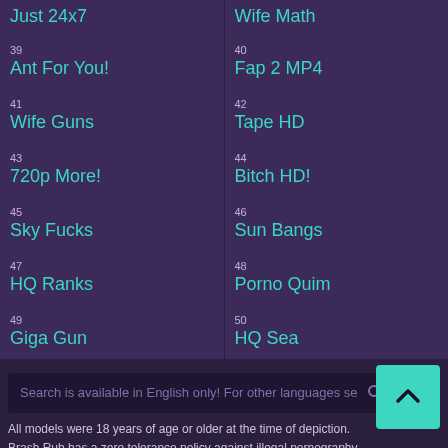Just 24x7 | Wife Math
39 Ant For You! | 40 Fap 2 MP4
41 Wife Guns | 42 Tape HD
43 720p More! | 44 Bitch HD!
45 Sky Fucks | 46 Sun Bangs
47 HQ Ranks | 48 Porno Quim
49 Giga Gun | 50 HQ Sea
Search is available in English only! For other languages se
All models were 18 years of age or older at the time of depiction. Brash Rub has a zero tolerance policy against illegal pornography.